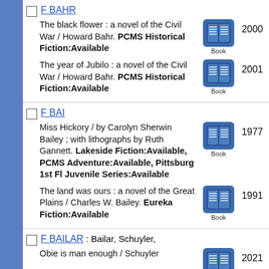F BAHR
The black flower : a novel of the Civil War / Howard Bahr. PCMS Historical Fiction:Available — Book, 2000
The year of Jubilo : a novel of the Civil War / Howard Bahr. PCMS Historical Fiction:Available — Book, 2001
F BAI
Miss Hickory / by Carolyn Sherwin Bailey ; with lithographs by Ruth Gannett. Lakeside Fiction:Available, PCMS Adventure:Available, Pittsburg 1st Fl Juvenile Series:Available — Book, 1977
The land was ours : a novel of the Great Plains / Charles W. Bailey. Eureka Fiction:Available — Book, 1991
F BAILAR : Bailar, Schuyler,
Obie is man enough / Schuyler — Book, 2021